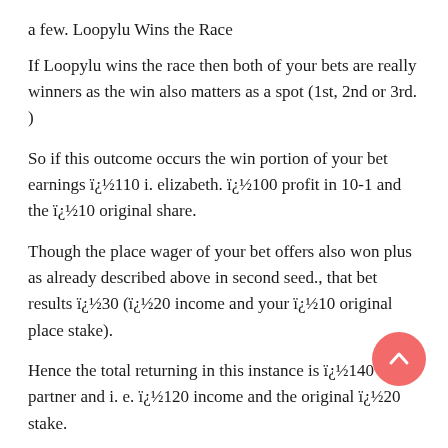a few. Loopylu Wins the Race
If Loopylu wins the race then both of your bets are really winners as the win also matters as a spot (1st, 2nd or 3rd. )
So if this outcome occurs the win portion of your bet earnings ï¿½110 i. elizabeth. ï¿½100 profit in 10-1 and the ï¿½10 original share.
Though the place wager of your bet offers also won plus as already described above in second seed., that bet results ï¿½30 (ï¿½20 income and your ï¿½10 original place stake).
Hence the total returning in this instance is ï¿½140 my partner and i. e. ï¿½120 income and the original ï¿½20 stake.
Occasionally bookmakers will offer you enhanced place terms on races using well in excess of 16 runners, an illustration is the Grand National which